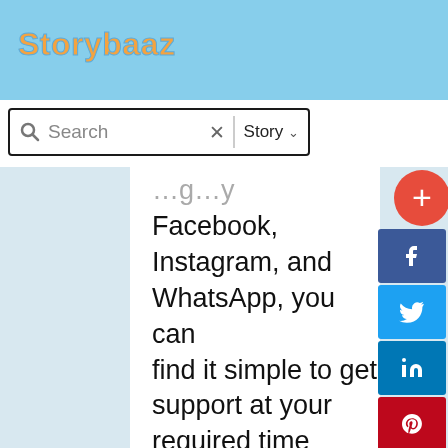Storybaaz
[Figure (screenshot): Search bar with magnifying glass icon, placeholder text 'Search', X button, and 'Story' dropdown with chevron]
Facebook, Instagram, and WhatsApp, you can find it simple to get support at your required time ideally.
[Figure (infographic): Social share sidebar with + button (red circle), Facebook (blue), Twitter (light blue), LinkedIn (dark blue), Pinterest (dark red), Reddit (orange), and more (orange-red) buttons]